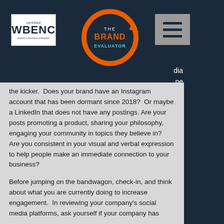[Figure (logo): Certified WBENC Women's Business Enterprise logo in white box]
[Figure (logo): The Brand Evaluator circular orange arrow logo with dark navy text]
[Figure (illustration): Hamburger menu icon (three horizontal lines) on grey background]
dia
ne
ively is
the kicker.  Does your brand have an Instagram account that has been dormant since 2018?  Or maybe a LinkedIn that does not have any postings.  Are your posts promoting a product, sharing your philosophy, engaging your community in topics they believe in?  Are you consistent in your visual and verbal expression to help people make an immediate connection to your business?
Before jumping on the bandwagon, check-in, and think about what you are currently doing to increase engagement.  In reviewing your company's social media platforms, ask yourself if your company has